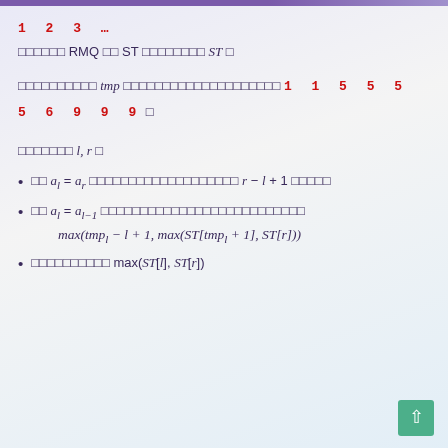1 2 3 …
□□□□□□ RMQ □□ ST □□□□□□□□ ST □
□□□□□□□□□□ tmp □□□□□□□□□□□□□□□□□□□□ 1 1 5 5 5 5 6 9 9 9 □
□□□□□□□ l, r □
□□ a_l = a_r □□□□□□□□□□□□□□□□□□□ r − l + 1 □□□□□
□□ a_l = a_{l-1} □□□□□□□□□□□□□□□□□□□□□□□□□□
max(tmp_l − l + 1, max(ST[tmp_l + 1], ST[r]))
□□□□□□□□□□ max(ST[l], ST[r])